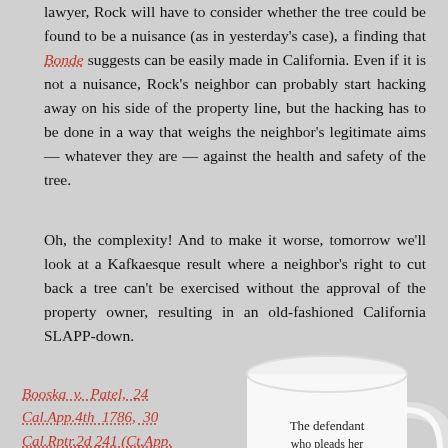lawyer, Rock will have to consider whether the tree could be found to be a nuisance (as in yesterday's case), a finding that Bonde suggests can be easily made in California. Even if it is not a nuisance, Rock's neighbor can probably start hacking away on his side of the property line, but the hacking has to be done in a way that weighs the neighbor's legitimate aims — whatever they are — against the health and safety of the tree.
Oh, the complexity! And to make it worse, tomorrow we'll look at a Kafkaesque result where a neighbor's right to cut back a tree can't be exercised without the approval of the property owner, resulting in an old-fashioned California SLAPP-down.
Booska v. Patel, 24 Cal.App.4th 1786, 30 Cal.Rptr.2d 241 (Ct.App. Div.1, 1994). Attorney Booska, representing himself in this action, sued his neighbor, Mr. Patel. The roots of a 40-year-old Monterey pine tree owned by Mr.
[Figure (photo): A white coffee mug with black old-English/blackletter text reading: 'The defendant who pleads her own case has a fool for a client, but at least there will be no problem...']